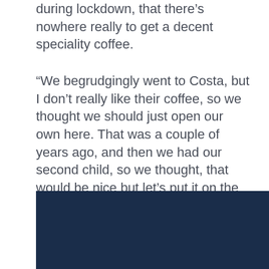during lockdown, that there's nowhere really to get a decent speciality coffee.
“We begrudgingly went to Costa, but I don’t really like their coffee, so we thought we should just open our own here. That was a couple of years ago, and then we had our second child, so we thought, that would be nice but let’s put it on the back burner.
“We still kept our eye out for properties, and just before Christmas this unit came up. We hadn’t talked about if for months, but we went and had a viewing and just thought it was wicked and decided to go for it.”
[Figure (photo): Dark navy blue image area at the bottom of the page]